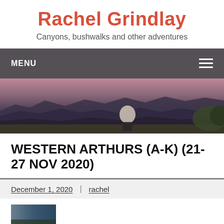Rachel Grindlay
Canyons, bushwalks and other adventures
MENU
[Figure (photo): Panoramic landscape photo showing a person standing at a lookout with mountain ranges and valleys in the background at dusk/dawn]
WESTERN ARTHURS (A-K) (21-27 NOV 2020)
December 1, 2020 | rachel
[Figure (photo): Partial view of a photo strip at the bottom of the page]